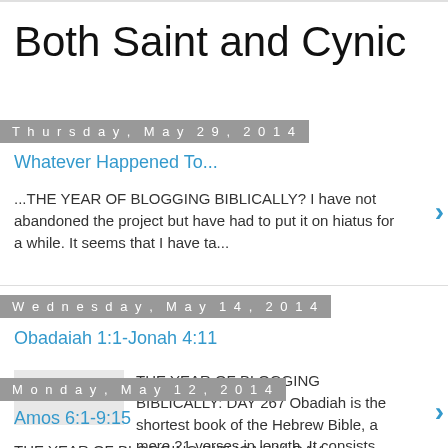Both Saint and Cynic
Thursday, May 29, 2014
Whatever Happened To...
...THE YEAR OF BLOGGING BIBLICALLY? I have not abandoned the project but have had to put it on hiatus for a while. It seems that I have ta...
Wednesday, May 14, 2014
Obadaiah 1:1-Jonah 4:11
THE YEAR OF BLOGGING BIBLICALLY: DAY 267 Obadiah is the shortest book of the Hebrew Bible, a mere 21 verses in length. It consists entir...
Monday, May 12, 2014
Amos 6:1-9:15
THE YEAR OF BLOGGING BIBLICALLY: DAY